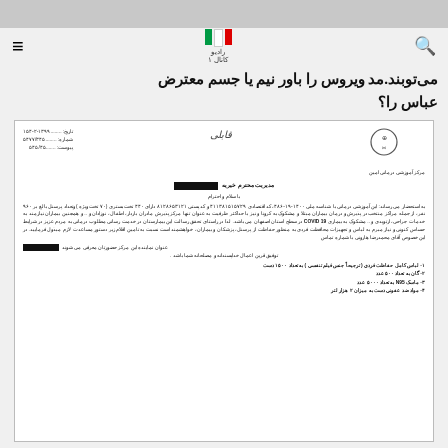navigation bar with hamburger menu, Iranian flag logo (IRIB/news site), and search icon
می‌توبند.مد ویروس را باور نیم یا جسم معترض عباس را؟
[Figure (photo): Scanned Persian government letter with official logo, redacted recipient name, date fields, reference numbers, body text in Persian requesting PPE supplies (1500 protective suits, 500 gowns, 5000 N95 masks, 2000 liters disinfectant), from medical training center in Isfahan related to COVID-19]
مدیریت محترم خیریه
با سلام و احترام
به استحضار می رساند: این آموزشی درمانی با شناسه ملی ۱۴۰۰-۱۹-۴۸۶، کد اقتصادی ۴۱۱۳۸۱۵۱۵۷۲۹ و کد پستی ۸۱۲۸۶۵۳۱۲۱ دارای ۴۴۰ تخت بستری (۷۰ تخت ویژه ) وتعداد پرسنل بالغ بر ۹۶۰ نفر، از جمله مراکز منتخب در پذیرش و درمان بیماران مبتلا و مشکوک به کرونا و نیز با حداکثر ظرفیت به عنوان تنها مرکز پذیرش مادران باردار، اطفال، نوزادان و .. و همچنین بیماران نیازمند به خدمات جراحی، ارتوپدی و .. مشکوک به بیماری COVID 19 در سطح استان اصفهان می باشد. لذا در راستای تحقق رسالت این بیمارستان در خدمت رسانی مطلوب درمانی به مردم عزیز در شرایط حساس کنونی و نیاز مبرم به لباس و تجهیزات محافظت فردی به منظور حفاظت از پرسنل، پزشکان و بیماران، خواهشمند است نسبت به تامین اقلام زیر دستور مساعدت لازم مبذول فرمایید. در این خصوص آقای محمدرضا هارونی با شماره تماس عنوان نماینده این مرکز حضورتان معرفی می شوند
توفیق قرین اعمال خداپسندانه و مصلحانه شما باشد .
۱- لباس کامل حفاظت فردی ( ترجیحاً جنس فیلم تنفسی ) به تعداد ۱۵۰۰ دست
۲- گان به تعداد ۵۰۰ عدد
۳- ماسک N95 به تعداد ۵۰۰۰ عدد
۴- مواد ضد عفونی دست به میزان ۲ هزار لتر